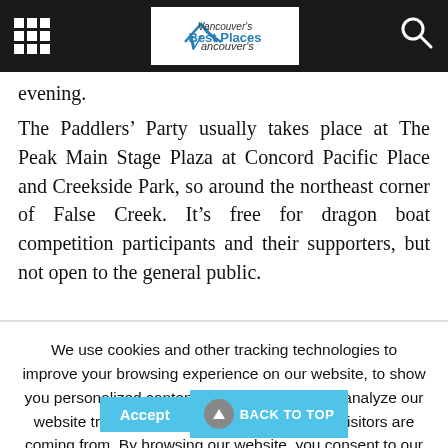Vancouver's Best Places (navigation bar with grid menu and search icon)
evening.
The Paddlers’ Party usually takes place at The Peak Main Stage Plaza at Concord Pacific Place and Creekside Park, so around the northeast corner of False Creek. It’s free for dragon boat competition participants and their supporters, but not open to the general public.
We use cookies and other tracking technologies to improve your browsing experience on our website, to show you personalized content and targeted ads, to analyze our website traffic, and to understand where our visitors are coming from. By browsing our website, you consent to our use of cookies and other tracking technologies.